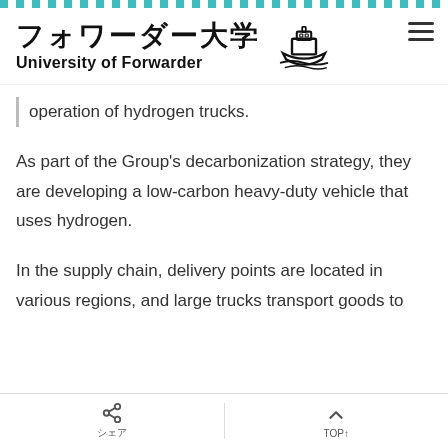フォワーダー大学 University of Forwarder
operation of hydrogen trucks.
As part of the Group's decarbonization strategy, they are developing a low-carbon heavy-duty vehicle that uses hydrogen.
In the supply chain, delivery points are located in various regions, and large trucks transport goods to the…
シェア　TOP↑